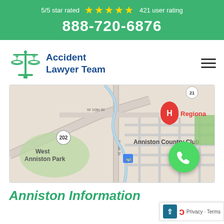5/5 star rated ★★★★★ 421 user rating 888-720-6876
[Figure (logo): Accident Lawyer Team logo with scales of justice icon in green and blue text]
[Figure (map): Google Maps screenshot showing Anniston area with West Anniston Park, Anniston Country Club, W 10th St, Noble St, route 202, and a red H hospital marker labeled Regiona]
Anniston Information